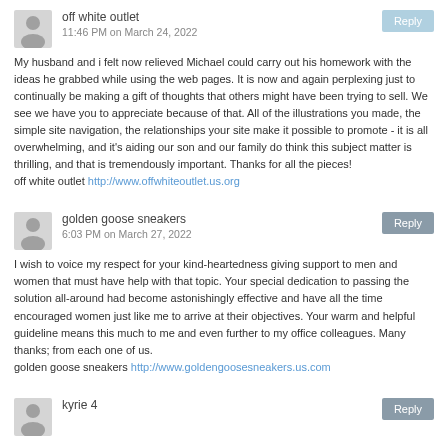off white outlet
11:46 PM on March 24, 2022
My husband and i felt now relieved Michael could carry out his homework with the ideas he grabbed while using the web pages. It is now and again perplexing just to continually be making a gift of thoughts that others might have been trying to sell. We see we have you to appreciate because of that. All of the illustrations you made, the simple site navigation, the relationships your site make it possible to promote - it is all overwhelming, and it's aiding our son and our family do think this subject matter is thrilling, and that is tremendously important. Thanks for all the pieces! off white outlet http://www.offwhiteoutlet.us.org
golden goose sneakers
6:03 PM on March 27, 2022
I wish to voice my respect for your kind-heartedness giving support to men and women that must have help with that topic. Your special dedication to passing the solution all-around had become astonishingly effective and have all the time encouraged women just like me to arrive at their objectives. Your warm and helpful guideline means this much to me and even further to my office colleagues. Many thanks; from each one of us. golden goose sneakers http://www.goldengoosesneakers.us.com
kyrie 4